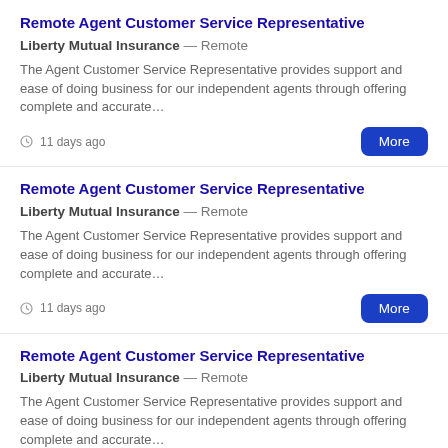Remote Agent Customer Service Representative
Liberty Mutual Insurance — Remote
The Agent Customer Service Representative provides support and ease of doing business for our independent agents through offering complete and accurate…
11 days ago
Remote Agent Customer Service Representative
Liberty Mutual Insurance — Remote
The Agent Customer Service Representative provides support and ease of doing business for our independent agents through offering complete and accurate…
11 days ago
Remote Agent Customer Service Representative
Liberty Mutual Insurance — Remote
The Agent Customer Service Representative provides support and ease of doing business for our independent agents through offering complete and accurate…
11 days ago